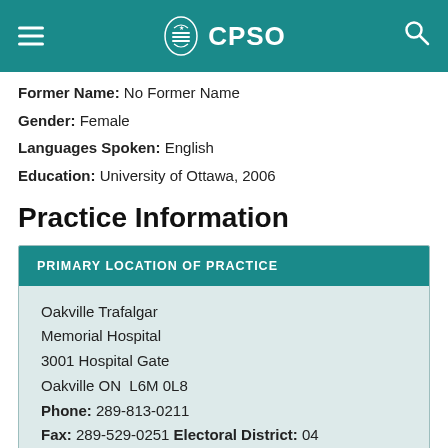CPSO
Former Name: No Former Name
Gender: Female
Languages Spoken: English
Education: University of Ottawa, 2006
Practice Information
PRIMARY LOCATION OF PRACTICE
Oakville Trafalgar Memorial Hospital 3001 Hospital Gate Oakville ON  L6M 0L8 Phone: 289-813-0211 Fax: 289-529-0251 Electoral District: 04